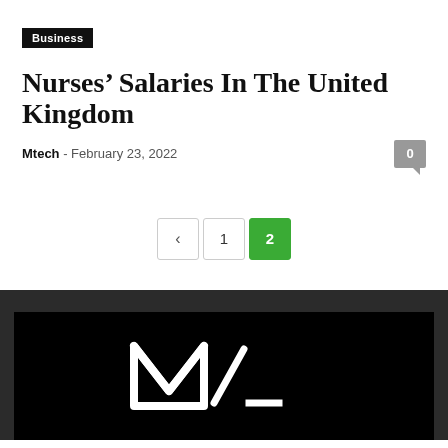Business
Nurses' Salaries In The United Kingdom
Mtech - February 23, 2022
[Figure (other): Pagination control showing back arrow, page 1, and active page 2 (green)]
[Figure (logo): Dark footer section with black banner containing a white stylized M-slash logo on black background]